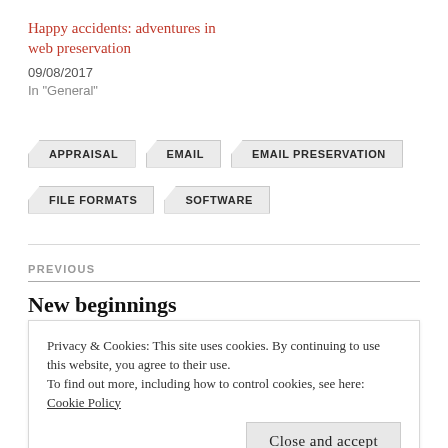Happy accidents: adventures in web preservation
09/08/2017
In "General"
APPRAISAL
EMAIL
EMAIL PRESERVATION
FILE FORMATS
SOFTWARE
PREVIOUS
New beginnings
Privacy & Cookies: This site uses cookies. By continuing to use this website, you agree to their use.
To find out more, including how to control cookies, see here: Cookie Policy
Close and accept